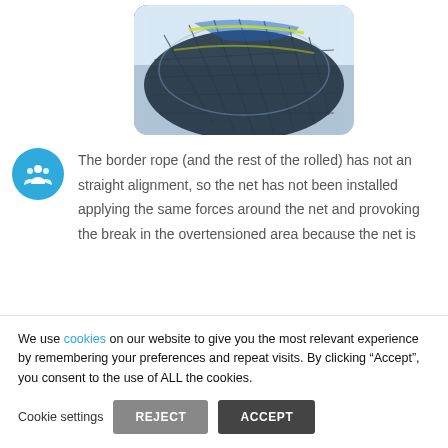[Figure (photo): Close-up photograph of a sports net with blue, white, and yellow-green ropes/fibers, shown rolled or bundled, with a rounded rectangle crop]
[Figure (other): Blue circular icon with white people/group silhouette symbol]
The border rope (and the rest of the rolled) has not an straight alignment, so the net has not been installed applying the same forces around the net and provoking the break in the overtensioned area because the net is
We use cookies on our website to give you the most relevant experience by remembering your preferences and repeat visits. By clicking “Accept”, you consent to the use of ALL the cookies.
Cookie settings  REJECT  ACCEPT